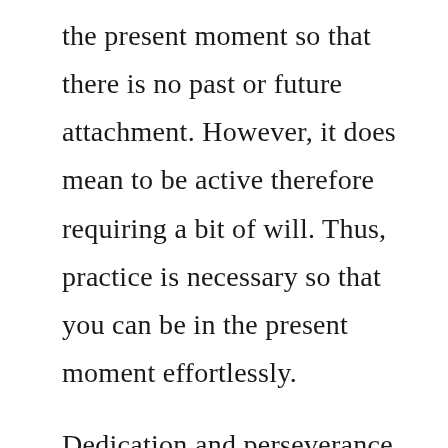the present moment so that there is no past or future attachment. However, it does mean to be active therefore requiring a bit of will. Thus, practice is necessary so that you can be in the present moment effortlessly.
Dedication and perseverance can get you through the trials of life.  It is this that can help you with circumstances